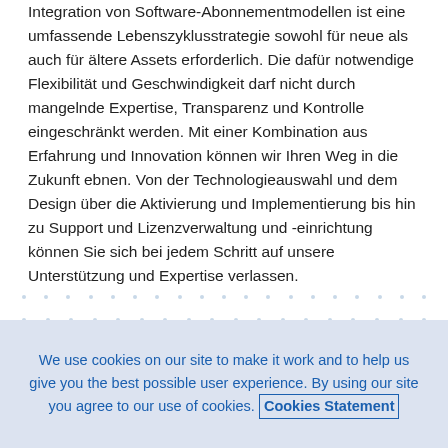Integration von Software-Abonnementmodellen ist eine umfassende Lebenszyklusstrategie sowohl für neue als auch für ältere Assets erforderlich. Die dafür notwendige Flexibilität und Geschwindigkeit darf nicht durch mangelnde Expertise, Transparenz und Kontrolle eingeschränkt werden. Mit einer Kombination aus Erfahrung und Innovation können wir Ihren Weg in die Zukunft ebnen. Von der Technologieauswahl und dem Design über die Aktivierung und Implementierung bis hin zu Support und Lizenzverwaltung und -einrichtung können Sie sich bei jedem Schritt auf unsere Unterstützung und Expertise verlassen.
[Figure (other): Decorative dot pattern rows with two salmon/pink horizontal bar accents]
We use cookies on our site to make it work and to help us give you the best possible user experience. By using our site you agree to our use of cookies. Cookies Statement